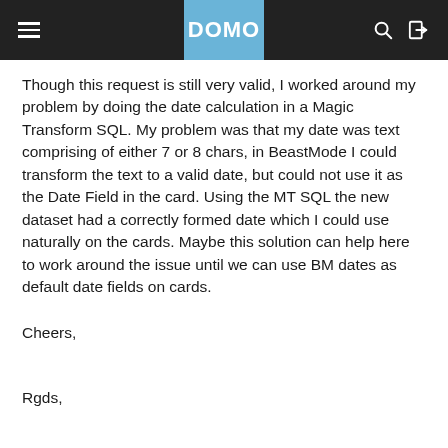DOMO
Though this request is still very valid, I worked around my problem by doing the date calculation in a Magic Transform SQL. My problem was that my date was text comprising of either 7 or 8 chars, in BeastMode I could transform the text to a valid date, but could not use it as the Date Field in the card. Using the MT SQL the new dataset had a correctly formed date which I could use naturally on the cards. Maybe this solution can help here to work around the issue until we can use BM dates as default date fields on cards.

Cheers,

Rgds,

K